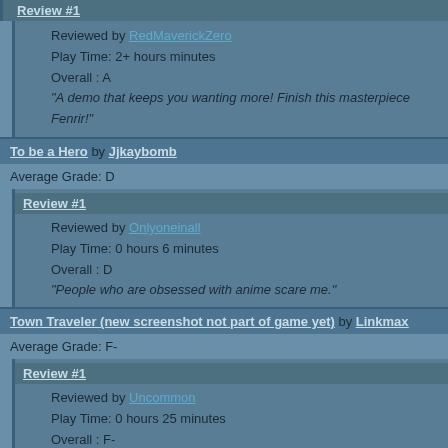Review #1
Reviewed by RedMaverickZero
Play Time: 2+ hours minutes
Overall : A
"A demo that keeps you wanting more! Finish this masterpiece Fenrir!"
To be a Hero by Jjkaybomb
Average Grade: D
Review #1
Reviewed by Onlyoneinall
Play Time: 0 hours 6 minutes
Overall : D
"People who are obsessed with anime scare me."
Town Traveler (new screenshot not part of game yet) by Linkmax
Average Grade: F-
Review #1
Reviewed by Uncommon
Play Time: 0 hours 25 minutes
Overall : F-
"Possibly the worst game ever released, this week."
Trailblazers by Retrogamer
Average Grade: A+